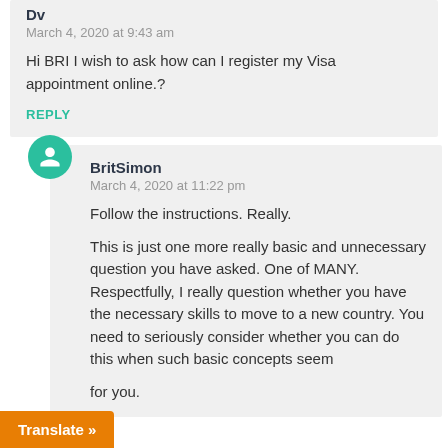Dv
March 4, 2020 at 9:43 am
Hi BRI I wish to ask how can I register my Visa appointment online.?
REPLY
BritSimon
March 4, 2020 at 11:22 pm
Follow the instructions. Really.
This is just one more really basic and unnecessary question you have asked. One of MANY. Respectfully, I really question whether you have the necessary skills to move to a new country. You need to seriously consider whether you can do this when such basic concepts seem for you.
Translate »